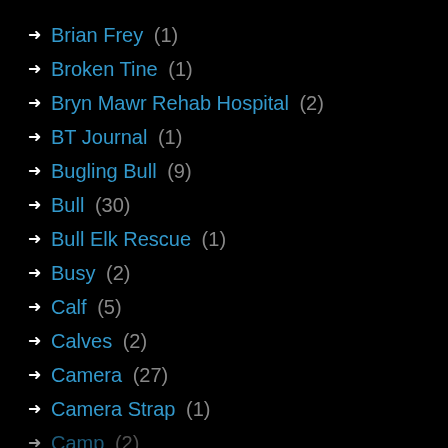Brian Frey (1)
Broken Tine (1)
Bryn Mawr Rehab Hospital (2)
BT Journal (1)
Bugling Bull (9)
Bull (30)
Bull Elk Rescue (1)
Busy (2)
Calf (5)
Calves (2)
Camera (27)
Camera Strap (1)
Camp (2)